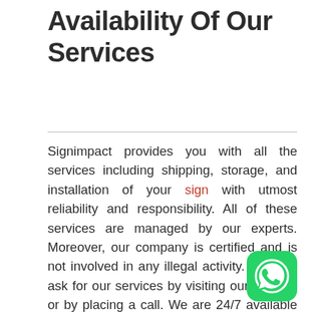Availability Of Our Services
Signimpact provides you with all the services including shipping, storage, and installation of your sign with utmost reliability and responsibility. All of these services are managed by our experts. Moreover, our company is certified and is not involved in any illegal activity. You can ask for our services by visiting our website or by placing a call. We are 24/7 available to provide you with the best of our services.
[Figure (logo): WhatsApp icon — green rounded square with white phone handset logo]